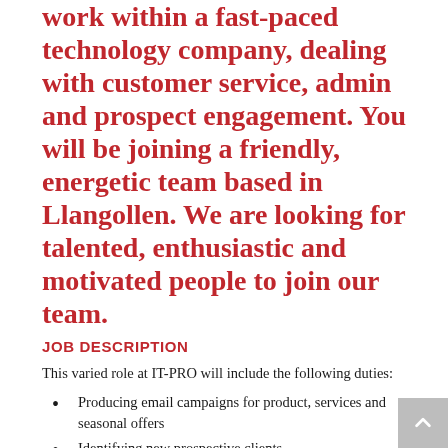work within a fast-paced technology company, dealing with customer service, admin and prospect engagement. You will be joining a friendly, energetic team based in Llangollen. We are looking for talented, enthusiastic and motivated people to join our team.
JOB DESCRIPTION
This varied role at IT-PRO will include the following duties:
Producing email campaigns for product, services and seasonal offers
Identifying new prospective clients
Assisting the company with sales processes